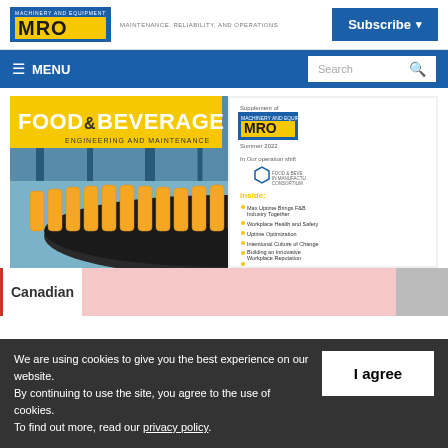MRO - MAINTENANCE, RELIABILITY, AND OPERATIONS | Subscribe
≡ MENU | Search
[Figure (illustration): Magazine cover of Food & Beverage Engineering and Maintenance, Summer 2022 issue, showing orange juice bottles on a conveyor belt. MRO magazine supplement cover.]
Canadian
We are using cookies to give you the best experience on our website. By continuing to use the site, you agree to the use of cookies. To find out more, read our privacy policy.